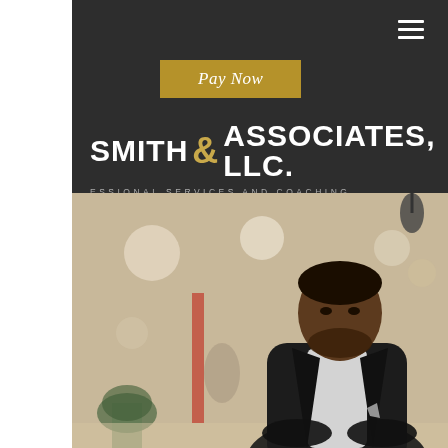[Figure (screenshot): Website screenshot of Smith & Associates, LLC. professional services and coaching. Dark header with hamburger menu, gold Pay Now button, company logo/name, and a photo of a professional man in a dark suit seated in a modern office environment.]